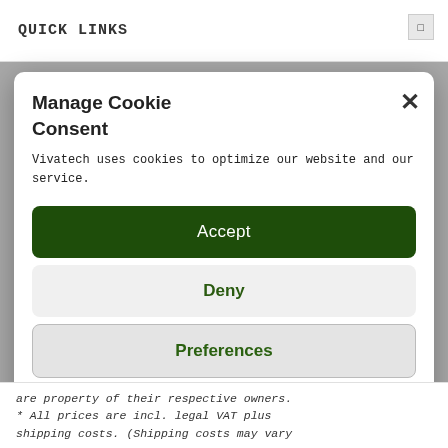QUICK LINKS
Manage Cookie Consent
Vivatech uses cookies to optimize our website and our service.
Accept
Deny
Preferences
Cookie Policy   Privacy Statement
are property of their respective owners. * All prices are incl. legal VAT plus shipping costs. (Shipping costs may vary